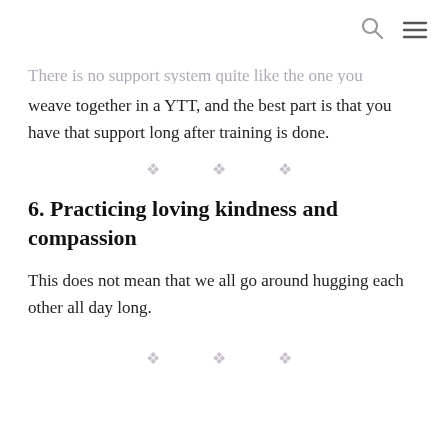[search icon] [menu icon]
There is no support system quite like the one you weave together in a YTT, and the best part is that you have that support long after training is done.
[Figure (other): Three decorative diamond/asterisk ornament dividers]
6. Practicing loving kindness and compassion
This does not mean that we all go around hugging each other all day long.
[Figure (other): Three decorative diamond/asterisk ornament dividers]